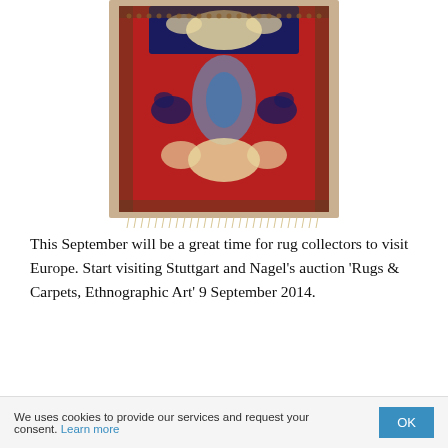[Figure (photo): A Persian or Oriental rug/carpet with a red field, navy blue border, cream arabesques, floral and bird motifs, photographed from above showing its full length with fringe at the bottom.]
This September will be a great time for rug collectors to visit Europe. Start visiting Stuttgart and Nagel’s auction ‘Rugs & Carpets, Ethnographic Art’ 9 September 2014.
We uses cookies to provide our services and request your consent. Learn more